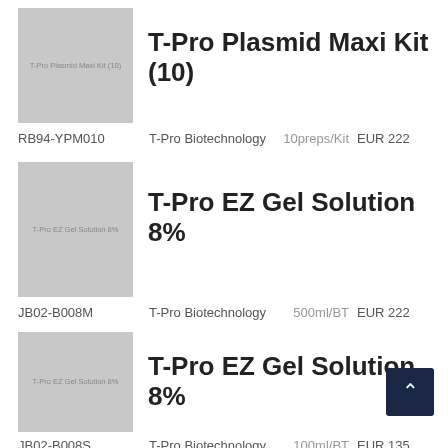[Figure (photo): Product image placeholder for T-Pro Plasmid Maxi Kit (10) with label text]
T-Pro Plasmid Maxi Kit (10)
RB94-YPM010   T-Pro Biotechnology   10preps/Kit   EUR 222
[Figure (photo): Product image placeholder for T-Pro EZ Gel Solution 8% with label text]
T-Pro EZ Gel Solution 8%
JB02-B008M   T-Pro Biotechnology   500ml/BT   EUR 222
[Figure (photo): Product image placeholder for T-Pro EZ Gel Solution 8% with label text]
T-Pro EZ Gel Solution 8%
JB02-B008S   T-Pro Biotechnology   100ml/BT   EUR 135